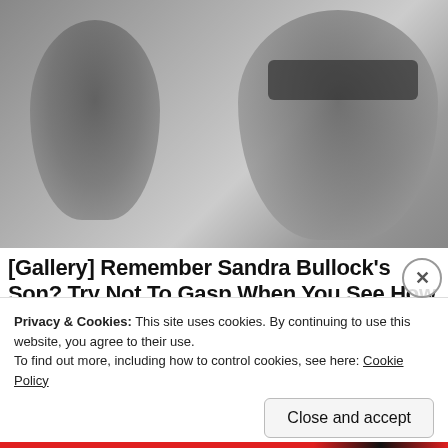[Figure (photo): Photo of a woman wearing sunglasses and a child, muted gray/dark tones]
[Gallery] Remember Sandra Bullock's Son? Try Not To Gasp When You See How He Looks Now.
Travel Like A Star
Privacy & Cookies: This site uses cookies. By continuing to use this website, you agree to their use.
To find out more, including how to control cookies, see here: Cookie Policy
Close and accept